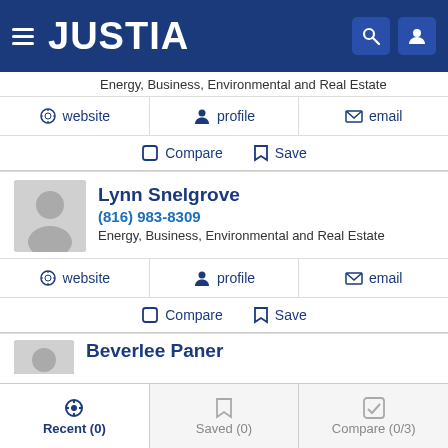JUSTIA
Energy, Business, Environmental and Real Estate
website | profile | email
Compare | Save
Lynn Snelgrove
(816) 983-8309
Energy, Business, Environmental and Real Estate
website | profile | email
Compare | Save
Beverlee Paner
Recent (0) | Saved (0) | Compare (0/3)